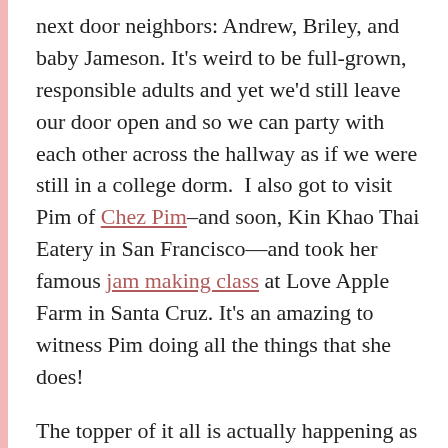next door neighbors: Andrew, Briley, and baby Jameson. It's weird to be full-grown, responsible adults and yet we'd still leave our door open and so we can party with each other across the hallway as if we were still in a college dorm.  I also got to visit Pim of Chez Pim–and soon, Kin Khao Thai Eatery in San Francisco—and took her famous jam making class at Love Apple Farm in Santa Cruz. It's an amazing to witness Pim doing all the things that she does!
The topper of it all is actually happening as I type this.  My best friend from Thailand, Tong, is in town. Right now! The original plan was for me to just see them twice as they transit through LAX in December and then again on New Year's Day.  But they extended their trip so they could spend a few